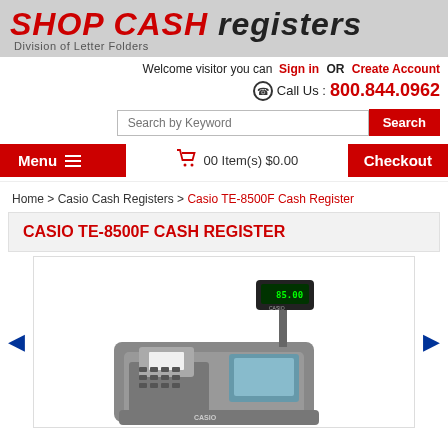SHOP CASH registers — Division of Letter Folders
Welcome visitor you can Sign in OR Create Account
Call Us : 800.844.0962
Search by Keyword [Search]
Menu  00 Item(s) $0.00  Checkout
Home > Casio Cash Registers > Casio TE-8500F Cash Register
CASIO TE-8500F CASH REGISTER
[Figure (photo): Photo of Casio TE-8500F Cash Register, a grey cash register with display showing 85.00, keyboard, LCD screen, and receipt printer.]